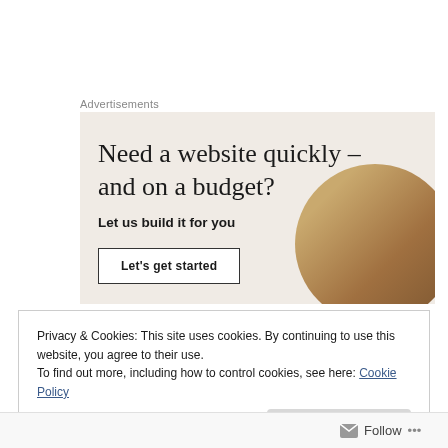Advertisements
[Figure (illustration): Advertisement banner with beige/cream background. Headline text: 'Need a website quickly – and on a budget?' Subtext: 'Let us build it for you'. Button labeled 'Let's get started'. Decorative circular image of a croissant/bread on the right side.]
Privacy & Cookies: This site uses cookies. By continuing to use this website, you agree to their use.
To find out more, including how to control cookies, see here: Cookie Policy
Close and accept
Follow